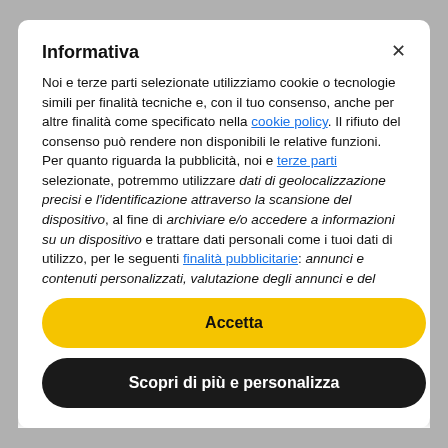Informativa
Noi e terze parti selezionate utilizziamo cookie o tecnologie simili per finalità tecniche e, con il tuo consenso, anche per altre finalità come specificato nella cookie policy. Il rifiuto del consenso può rendere non disponibili le relative funzioni.
Per quanto riguarda la pubblicità, noi e terze parti selezionate, potremmo utilizzare dati di geolocalizzazione precisi e l'identificazione attraverso la scansione del dispositivo, al fine di archiviare e/o accedere a informazioni su un dispositivo e trattare dati personali come i tuoi dati di utilizzo, per le seguenti finalità pubblicitarie: annunci e contenuti personalizzati, valutazione degli annunci e del contenuto, osservazioni del pubblico e sviluppo di prodotti.
Accetta
Scopri di più e personalizza